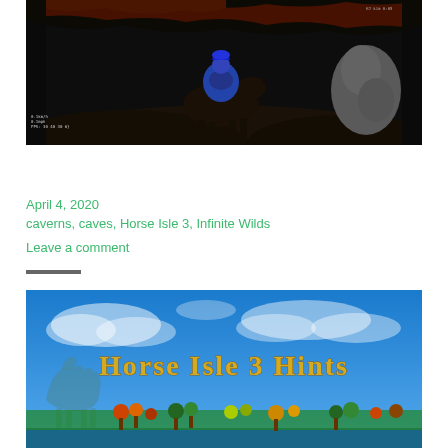[Figure (screenshot): Dark cave/cavern scene from Horse Isle 3 game showing a player riding a dark horse with blue hair/mane, red lava texture visible at top, a gray rocky figure to the right, dark rocky ground. HUD text visible in bottom left corner.]
Lava with silver ore boulder
April 4, 2020
caverns, caves, Horse Isle 3, Infinite Wilds
Leave a comment
[Figure (screenshot): Horse Isle 3 Hints banner image with blue sky and clouds background, golden gothic-style text reading 'Horse Isle 3 Hints', silhouette of a horse on the left, colorful trees and landscape at the bottom.]